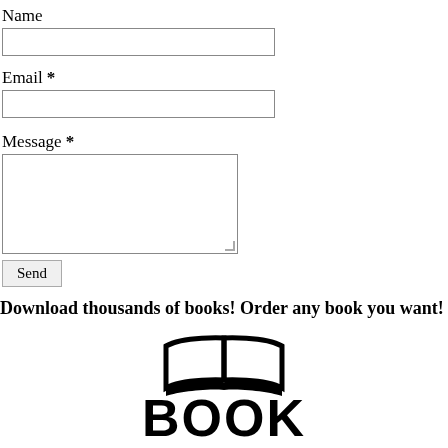Name
Email *
Message *
Send
Download thousands of books! Order any book you want!
[Figure (logo): Open book icon with the word BOOK in large bold black letters below it — a book website logo]